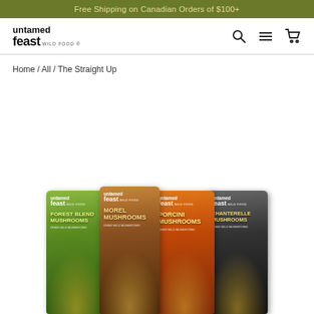Free Shipping on Canadian Orders of $100+
[Figure (logo): Untamed Feast Wild Food logo — stylized bold lowercase text 'untamed feast' with 'wild food' subtitle]
Home / All / The Straight Up
[Figure (photo): Four product packages of Untamed Feast wild mushrooms: Forest Blend Mushrooms (green), Morel Mushrooms (brown), Porcini Mushrooms (orange), Chanterelle Mushrooms (dark/black)]